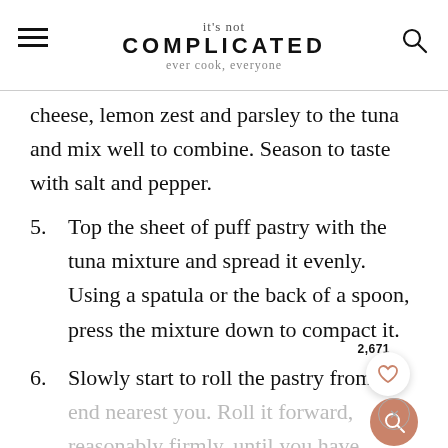it's not COMPLICATED ever cook, everyone
cheese, lemon zest and parsley to the tuna and mix well to combine. Season to taste with salt and pepper.
5. Top the sheet of puff pastry with the tuna mixture and spread it evenly. Using a spatula or the back of a spoon, press the mixture down to compact it.
6. Slowly start to roll the pastry from the end nearest you. Roll it forward, reasonably firmly, until you have